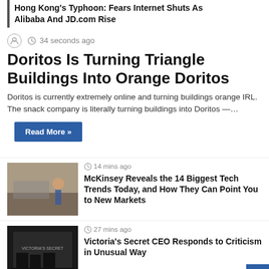Hong Kong's Typhoon: Fears Internet Shuts As Alibaba And JD.com Rise
34 seconds ago
Doritos Is Turning Triangle Buildings Into Orange Doritos
Doritos is currently extremely online and turning buildings orange IRL. The snack company is literally turning buildings into Doritos —…
Read More »
14 mins ago
McKinsey Reveals the 14 Biggest Tech Trends Today, and How They Can Point You to New Markets
27 mins ago
Victoria's Secret CEO Responds to Criticism in Unusual Way
54 mins ago
Bridging The Gap: Two Paths To Financial…